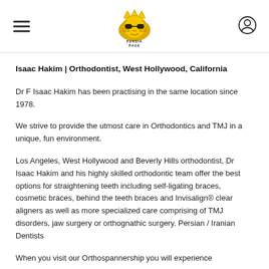[Figure (logo): Persia Page logo — a lion face with crown wearing sunglasses, yellow and black, with text PERSIA PAGE below]
Isaac Hakim | Orthodontist, West Hollywood, California
Dr F Isaac Hakim has been practising in the same location since 1978.
We strive to provide the utmost care in Orthodontics and TMJ in a unique, fun environment.
Los Angeles, West Hollywood and Beverly Hills orthodontist, Dr Isaac Hakim and his highly skilled orthodontic team offer the best options for straightening teeth including self-ligating braces, cosmetic braces, behind the teeth braces and Invisalign® clear aligners as well as more specialized care comprising of TMJ disorders, jaw surgery or orthognathic surgery. Persian / Iranian Dentists
When you visit our Orthodonopashin you will experience